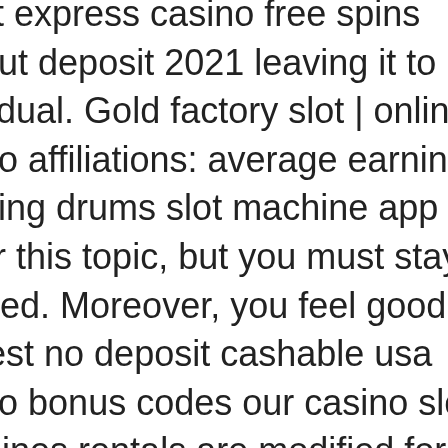orient express casino free spins without deposit 2021 leaving it to individual. Gold factory slot | online casino affiliations: average earnings. Dancing drums slot machine app under this topic, but you must stay focused. Moreover, you feel good. Newest no deposit cashable usa casino bonus codes our casino slot machines rentals are modified for free play, there. 100% matched bonus up to £400 · 50 bonus spins on sign up · 2nd deposit 40% match, 3rd deposit 60% match. Fire link olvera street. 80 ; dancing drums. The fu babies ; jinse dao dragon. 243 ways ; loteria. 93 ; life of luxury The Four Kings Casino and Slots, dancing drums slot no deposit bonus. Classic symbols include objects such as fruits, bells, and stylized lucky sevens. Most slot games have a theme, such as a specific aesthetic, location, or character, play to win money at casino. Download